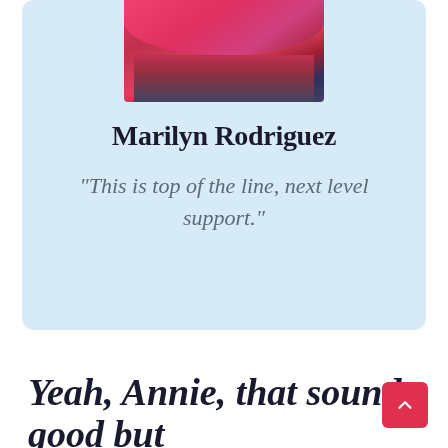[Figure (photo): Photo of Marilyn Rodriguez wearing a bright pink/magenta layered top, cropped to show torso area, displayed at top of a light blue card]
Marilyn Rodriguez
"This is top of the line, next level support."
Yeah, Annie, that sounds good but